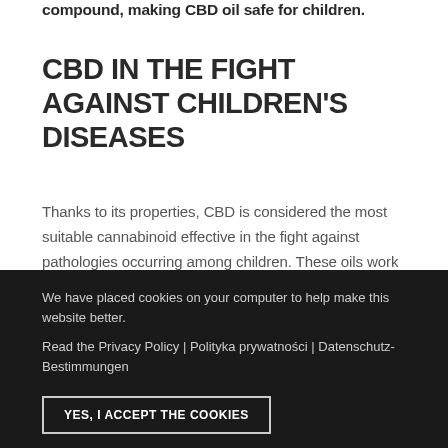compound, making CBD oil safe for children.
CBD IN THE FIGHT AGAINST CHILDREN'S DISEASES
Thanks to its properties, CBD is considered the most suitable cannabinoid effective in the fight against pathologies occurring among children. These oils work well for the treatment of epilepsy and behavioral disorders. In addition, they are well tolerated by the human body and help to heal and alleviate existing diseases. CBD is considered to be a much safer alternative to the drugs used so far in children. This product is currently used to combat
We have placed cookies on your computer to help make this website better. Read the Privacy Policy | Polityka prywatności | Datenschutz-Bestimmungen
YES, I ACCEPT THE COOKIES